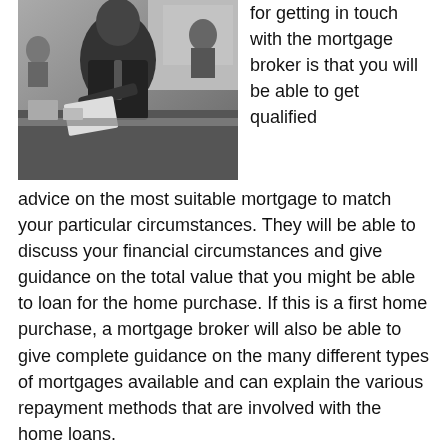[Figure (photo): Black and white photograph of a man in a suit sitting at an office desk, looking toward the camera, with papers in hand. Office environment with other people visible in the background.]
for getting in touch with the mortgage broker is that you will be able to get qualified advice on the most suitable mortgage to match your particular circumstances. They will be able to discuss your financial circumstances and give guidance on the total value that you might be able to loan for the home purchase. If this is a first home purchase, a mortgage broker will also be able to give complete guidance on the many different types of mortgages available and can explain the various repayment methods that are involved with the home loans.
Access to a broad selection of deals
If you use independent brokers, you will have access to a